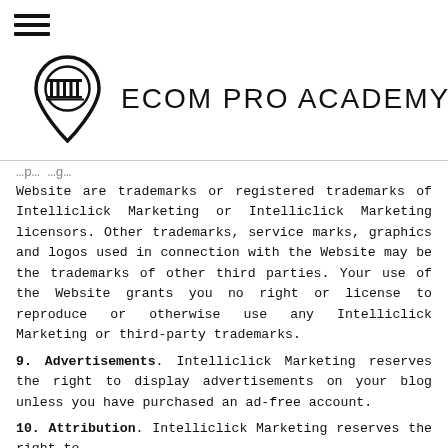[Figure (logo): Ecom Pro Academy logo: map pin icon with building/colonnade inside, next to text 'ECOM PRO ACADEMY' in bold sans-serif capitals]
Website are trademarks or registered trademarks of Intelliclick Marketing or Intelliclick Marketing licensors. Other trademarks, service marks, graphics and logos used in connection with the Website may be the trademarks of other third parties. Your use of the Website grants you no right or license to reproduce or otherwise use any Intelliclick Marketing or third-party trademarks.
9. Advertisements. Intelliclick Marketing reserves the right to display advertisements on your blog unless you have purchased an ad-free account.
10. Attribution. Intelliclick Marketing reserves the right to